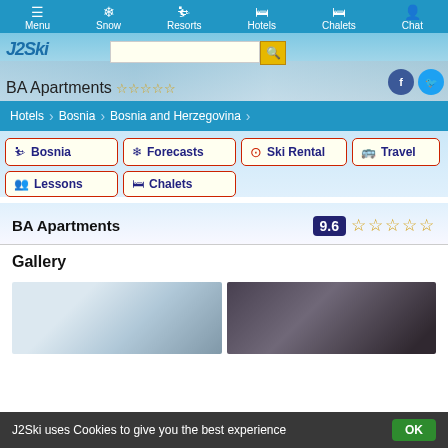Menu | Snow | Resorts | Hotels | Chalets | Chat
[Figure (screenshot): J2Ski logo and hero banner with mountain background, search box, and social media buttons]
BA Apartments ☆☆☆☆☆
Hotels > Bosnia > Bosnia and Herzegovina
Bosnia
Forecasts
Ski Rental
Travel
Lessons
Chalets
BA Apartments  9.6 ☆☆☆☆☆
Gallery
[Figure (photo): Two gallery photos of BA Apartments accommodation]
J2Ski uses Cookies to give you the best experience  OK